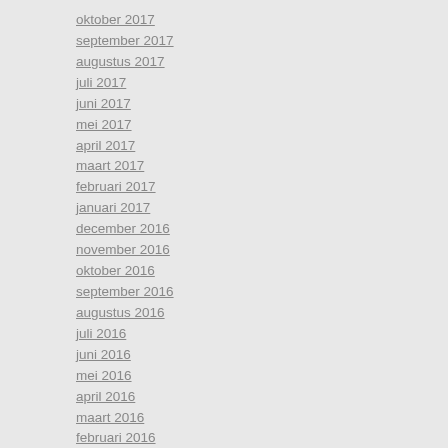oktober 2017
september 2017
augustus 2017
juli 2017
juni 2017
mei 2017
april 2017
maart 2017
februari 2017
januari 2017
december 2016
november 2016
oktober 2016
september 2016
augustus 2016
juli 2016
juni 2016
mei 2016
april 2016
maart 2016
februari 2016
januari 2016